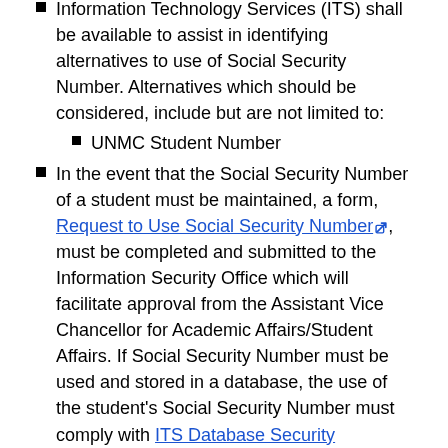Information Technology Services (ITS) shall be available to assist in identifying alternatives to use of Social Security Number. Alternatives which should be considered, include but are not limited to:
UNMC Student Number
In the event that the Social Security Number of a student must be maintained, a form, Request to Use Social Security Number, must be completed and submitted to the Information Security Office which will facilitate approval from the Assistant Vice Chancellor for Academic Affairs/Student Affairs. If Social Security Number must be used and stored in a database, the use of the student's Social Security Number must comply with ITS Database Security Procedures.
Employee Information
The Social Security Number of an employee is considered confidential information and should not be